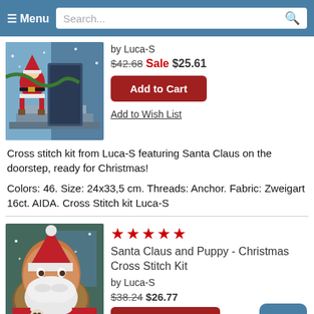Menu | Search...
by Luca-S
$42.68 Sale $25.61
Add to Cart
Add to Wish List
Cross stitch kit from Luca-S featuring Santa Claus on the doorstep, ready for Christmas!
Colors: 46. Size: 24x33,5 cm. Threads: Anchor. Fabric: Zweigart 16ct. AIDA. Cross Stitch kit Luca-S
[Figure (photo): Santa Claus on doorstep cross stitch kit product image]
Santa Claus and Puppy - Christmas Cross Stitch Kit
by Luca-S
$38.24 $26.77
Add to Cart
[Figure (photo): Santa Claus and Puppy Christmas cross stitch kit product image]